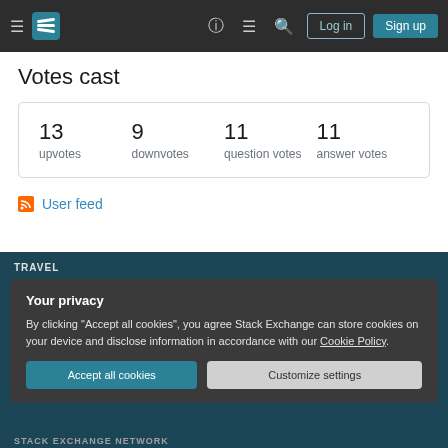Stack Exchange navigation header with Log in and Sign up buttons
Votes cast
| upvotes | downvotes | question votes | answer votes |
| --- | --- | --- | --- |
| 13 | 9 | 11 | 11 |
User feed
TRAVEL
Your privacy
By clicking "Accept all cookies", you agree Stack Exchange can store cookies on your device and disclose information in accordance with our Cookie Policy.
Accept all cookies  Customize settings
STACK EXCHANGE NETWORK